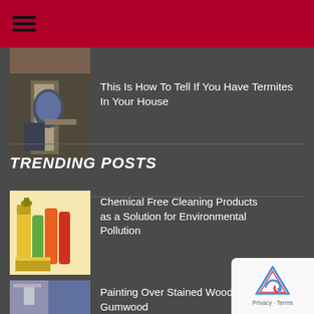Navigation menu header bar
[Figure (photo): Person inspecting termite damage behind wall paneling, wearing protective mask]
This Is How To Tell If You Have Termites In Your House
TRENDING POSTS
[Figure (photo): Cleaning products: yellow spray bottle, green bottle, orange bottle, red bottle, yellow sponge on shelf]
Chemical Free Cleaning Products as a Solution for Environmental Pollution
[Figure (photo): Interior room with painted walls and wood trim]
Painting Over Stained Wood And Gumwood